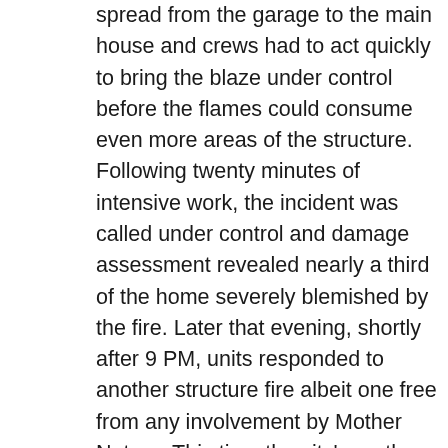spread from the garage to the main house and crews had to act quickly to bring the blaze under control before the flames could consume even more areas of the structure. Following twenty minutes of intensive work, the incident was called under control and damage assessment revealed nearly a third of the home severely blemished by the fire. Later that evening, shortly after 9 PM, units responded to another structure fire albeit one free from any involvement by Mother Nature. This time the city's north-west section was involved, as the incident was reported from the 3500 block of Imeson Road. Specifically, a double wide manufactured home was the scene of heavy black smoke pouring out from the front door as firefighters arrived, with an adult female already outside standing in the front yard. The crew from Engine 26 'B' was informed that an adult male was still inside and, indeed, it was discovered that the man was